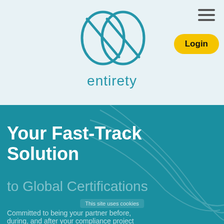[Figure (logo): Entirety company logo — two overlapping ellipses with diagonal slash marks, teal/blue color, with text 'entirety' below]
[Figure (other): Hamburger menu icon (three horizontal lines) in top right corner]
Login
Your Fast-Track Solution
to Global Certifications
This site uses cookies
Committed to being your partner before, during, and after your compliance project